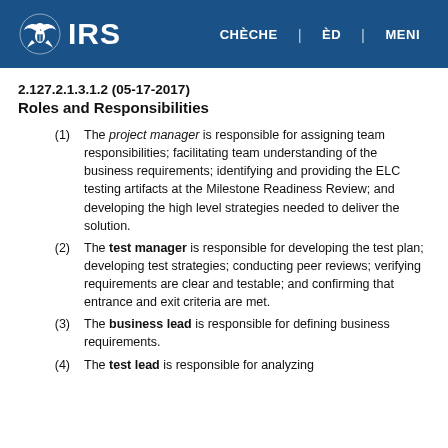IRS | CHÈCHE | ÈD | MENI
2.127.2.1.3.1.2 (05-17-2017)
Roles and Responsibilities
The project manager is responsible for assigning team responsibilities; facilitating team understanding of the business requirements; identifying and providing the ELC testing artifacts at the Milestone Readiness Review; and developing the high level strategies needed to deliver the solution.
The test manager is responsible for developing the test plan; developing test strategies; conducting peer reviews; verifying requirements are clear and testable; and confirming that entrance and exit criteria are met.
The business lead is responsible for defining business requirements.
The test lead is responsible for analyzing